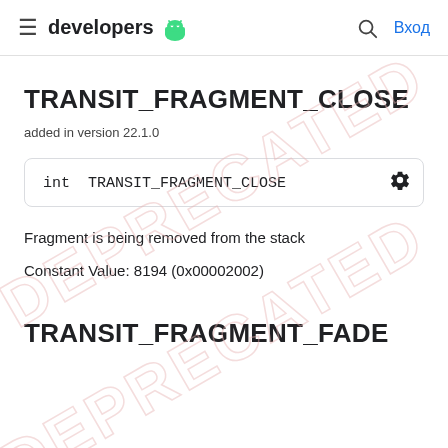developers [android logo] | [search icon] Вход
TRANSIT_FRAGMENT_CLOSE
added in version 22.1.0
int TRANSIT_FRAGMENT_CLOSE
Fragment is being removed from the stack
Constant Value: 8194 (0x00002002)
TRANSIT_FRAGMENT_FADE